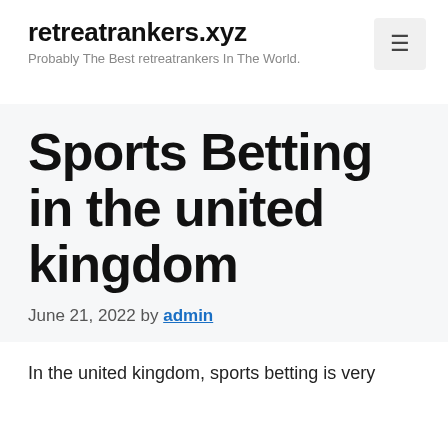retreatrankers.xyz
Probably The Best retreatrankers In The World.
Sports Betting in the united kingdom
June 21, 2022 by admin
In the united kingdom, sports betting is very